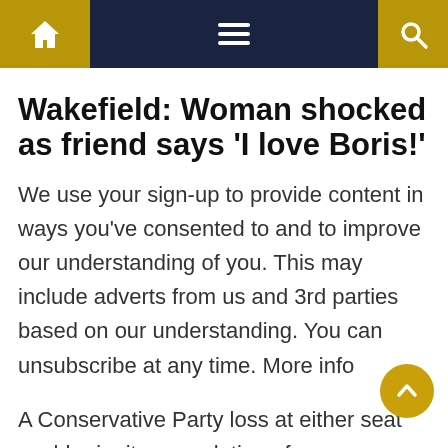Navigation bar with home, menu, and search icons
Wakefield: Woman shocked as friend says 'I love Boris!'
We use your sign-up to provide content in ways you've consented to and to improve our understanding of you. This may include adverts from us and 3rd parties based on our understanding. You can unsubscribe at any time. More info
A Conservative Party loss at either seat could reignite speculation of a new challenge from Tory MPs and their...